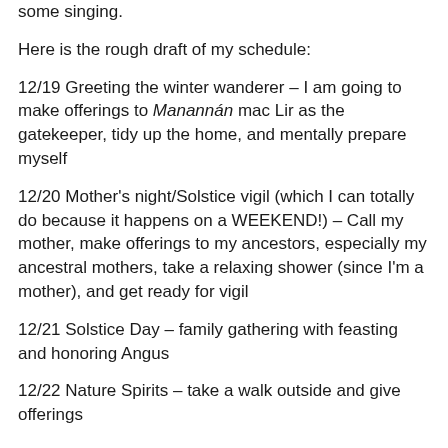some singing.
Here is the rough draft of my schedule:
12/19 Greeting the winter wanderer – I am going to make offerings to Manannán mac Lir as the gatekeeper, tidy up the home, and mentally prepare myself
12/20 Mother's night/Solstice vigil (which I can totally do because it happens on a WEEKEND!) – Call my mother, make offerings to my ancestors, especially my ancestral mothers, take a relaxing shower (since I'm a mother), and get ready for vigil
12/21 Solstice Day – family gathering with feasting and honoring Angus
12/22 Nature Spirits – take a walk outside and give offerings